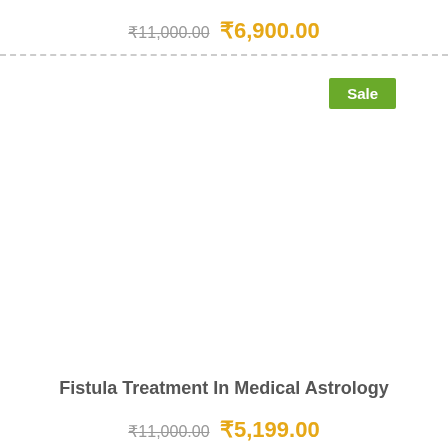₹11,000.00  ₹6,900.00
Sale
Fistula Treatment In Medical Astrology
₹11,000.00  ₹5,199.00